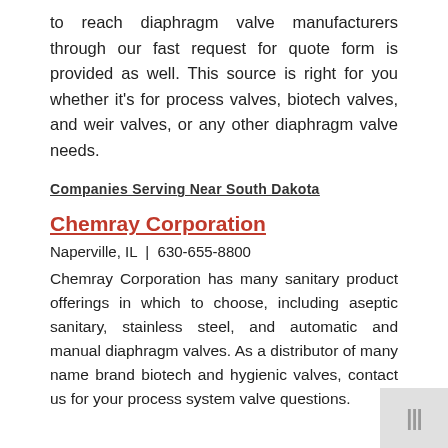to reach diaphragm valve manufacturers through our fast request for quote form is provided as well. This source is right for you whether it's for process valves, biotech valves, and weir valves, or any other diaphragm valve needs.
Companies Serving Near South Dakota
Chemray Corporation
Naperville, IL  |  630-655-8800
Chemray Corporation has many sanitary product offerings in which to choose, including aseptic sanitary, stainless steel, and automatic and manual diaphragm valves. As a distributor of many name brand biotech and hygienic valves, contact us for your process system valve questions.